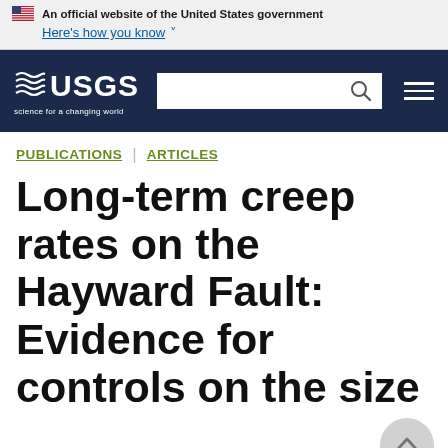An official website of the United States government Here's how you know
[Figure (logo): USGS logo with navigation bar including search box and menu icon on dark navy background]
PUBLICATIONS | ARTICLES
Long-term creep rates on the Hayward Fault: Evidence for controls on the size